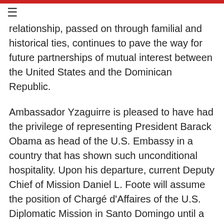≡
relationship, passed on through familial and historical ties, continues to pave the way for future partnerships of mutual interest between the United States and the Dominican Republic.
Ambassador Yzaguirre is pleased to have had the privilege of representing President Barack Obama as head of the U.S. Embassy in a country that has shown such unconditional hospitality. Upon his departure, current Deputy Chief of Mission Daniel L. Foote will assume the position of Chargé d'Affaires of the U.S. Diplomatic Mission in Santo Domingo until a new Ambassador arrives.
Following his departure from the Dominican Republic for health reasons, the Ambassador will return to his home in the city of Mt. Airy, Maryland, along with his wife, Mrs.